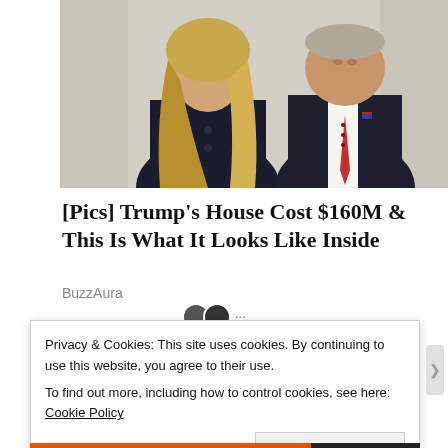[Figure (photo): Photo of a woman with long blonde hair and a man in a suit with a red tie, likely a couple posing together]
[Pics] Trump's House Cost $160M & This Is What It Looks Like Inside
BuzzAura
Privacy & Cookies: This site uses cookies. By continuing to use this website, you agree to their use.
To find out more, including how to control cookies, see here: Cookie Policy
Close and accept